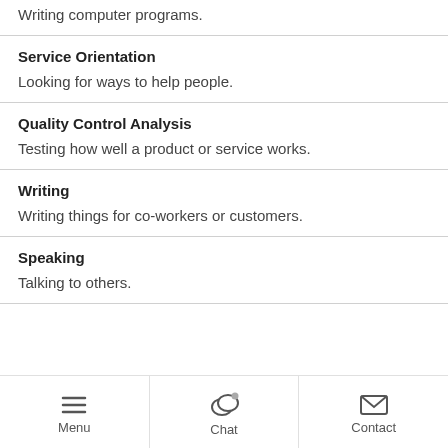Writing computer programs.
Service Orientation
Looking for ways to help people.
Quality Control Analysis
Testing how well a product or service works.
Writing
Writing things for co-workers or customers.
Speaking
Talking to others.
Menu | Chat Offline | Contact